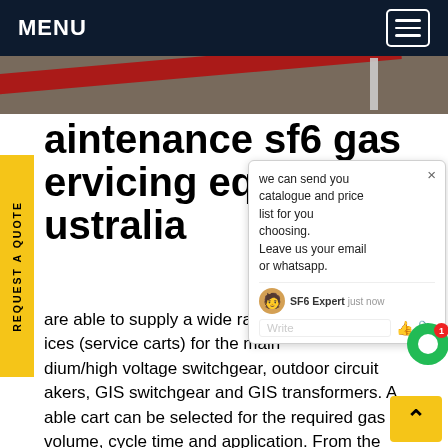MENU
[Figure (photo): Road surface with red stripe and a pole, hero banner image]
maintenance sf6 gas servicing equipment australia
are able to supply a wide range of handling devices (service carts) for the maintenance of medium/high voltage switchgear, outdoor circuit breakers, GIS switchgear and GIS transformers. A suitable cart can be selected for the required gas volume, cycle time and application. From the smallest mini-series/trolley mounted equipment the workhorse Get price
[Figure (screenshot): Chat popup: 'we can send you catalogue and price list for you choosing. Leave us your email or whatsapp.' with SF6 Expert chat agent, just now, Write input, thumbs up and paperclip icons]